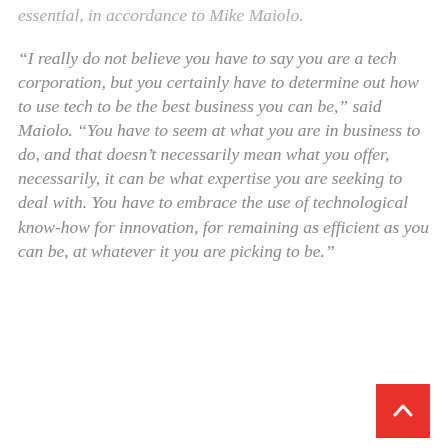essential, in accordance to Mike Maiolo.
“I really do not believe you have to say you are a tech corporation, but you certainly have to determine out how to use tech to be the best business you can be,” said Maiolo. “You have to seem at what you are in business to do, and that doesn’t necessarily mean what you offer, necessarily, it can be what expertise you are seeking to deal with. You have to embrace the use of technological know-how for innovation, for remaining as efficient as you can be, at whatever it you are picking to be.”